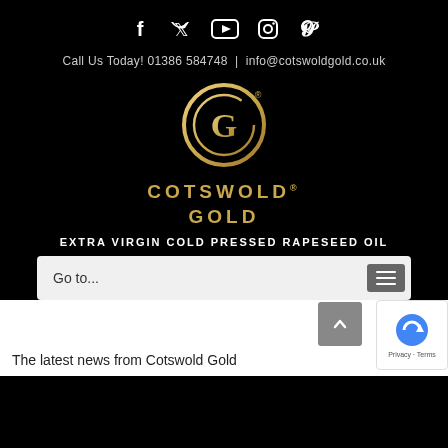[Figure (other): Social media icons row: Facebook, Twitter, YouTube, Instagram, Pinterest]
Call Us Today! 01386 584748  |  info@cotswoldgold.co.uk
[Figure (logo): Cotswold Gold circular logo with stylized G, gold gradient]
COTSWOLD® GOLD
EXTRA VIRGIN COLD PRESSED RAPESEED OIL
Go to...
The latest news from Cotswold Gold